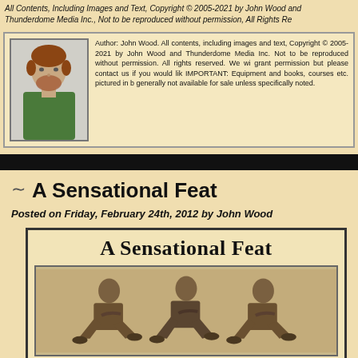All Contents, Including Images and Text, Copyright © 2005-2021 by John Wood and Thunderdome Media Inc., Not to be reproduced without permission, All Rights Reserved
Author: John Wood. All contents, including images and text, Copyright © 2005-2021 by John Wood and Thunderdome Media Inc. Not to be reproduced without permission. All rights reserved. We will generally not grant permission but please contact us if you would like to use our content. IMPORTANT: Equipment and books, courses etc. pictured in these articles are generally not available for sale unless specifically noted.
A Sensational Feat
Posted on Friday, February 24th, 2012 by John Wood
[Figure (photo): Vintage sepia photograph showing three men in athletic crouching/cycling poses, with the text 'A Sensational Feat' above them in large serif font. The image appears to be from an early 20th century publication.]